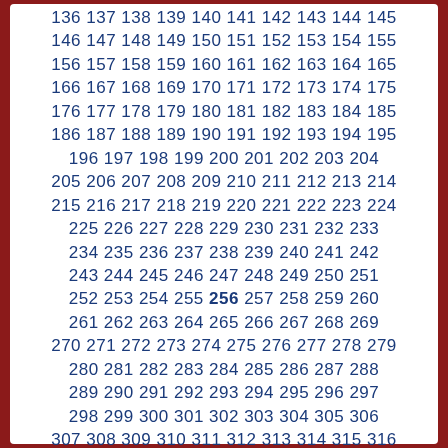136 137 138 139 140 141 142 143 144 145 146 147 148 149 150 151 152 153 154 155 156 157 158 159 160 161 162 163 164 165 166 167 168 169 170 171 172 173 174 175 176 177 178 179 180 181 182 183 184 185 186 187 188 189 190 191 192 193 194 195 196 197 198 199 200 201 202 203 204 205 206 207 208 209 210 211 212 213 214 215 216 217 218 219 220 221 222 223 224 225 226 227 228 229 230 231 232 233 234 235 236 237 238 239 240 241 242 243 244 245 246 247 248 249 250 251 252 253 254 255 256 257 258 259 260 261 262 263 264 265 266 267 268 269 270 271 272 273 274 275 276 277 278 279 280 281 282 283 284 285 286 287 288 289 290 291 292 293 294 295 296 297 298 299 300 301 302 303 304 305 306 307 308 309 310 311 312 313 314 315 316 317 318 319 320 321 322 323 324 325 326 327 328 329 330 331 332 333 334 335 336 337 338 339 340 341 342 343